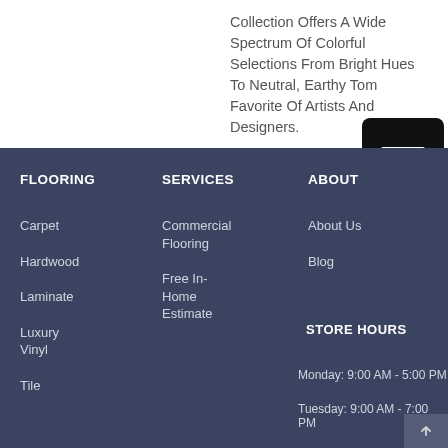Collection Offers A Wide Spectrum Of Colorful Selections From Bright Hues To Neutral, Earthy Tones. A Favorite Of Artists And Designers.
[Figure (other): Black rounded square icon with three horizontal white bars (hamburger/menu icon)]
FLOORING
SERVICES
ABOUT
Carpet
Hardwood
Laminate
Luxury Vinyl
Tile
Commercial Flooring
Free In-Home Estimate
About Us
Blog
STORE HOURS
Monday: 9:00 AM - 5:00 PM
Tuesday: 9:00 AM - 7:00 PM